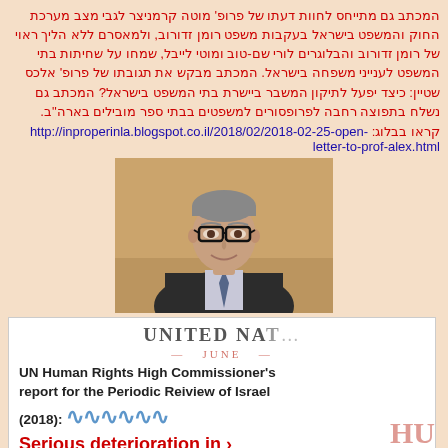המכתב גם מתייחס לחוות דעתו של פרופ' מוטה קרמניצר לגבי מצב מערכת החוק והמשפט בישראל בעקבות משפט רומן זדורוב, ולמאסרם ללא הליך ראוי של רומן זדורוב והבלוגרים לורי שם-טוב ומוטי לייבל, שמחו על שחיתות בתי המשפט לענייני משפחה בישראל. המכתב מבקש את תגובתו של פרופ' אלכס שטיין: כיצד יפעל לתיקון המשבר ביישרת בתי המשפט בישראל? המכתב גם נשלח בתפוצה רחבה לפרופסורים למשפטים בבתי ספר מובילים בארה"ב.
קראו בבלוג: http://inproperinla.blogspot.co.il/2018/02/2018-02-25-open-letter-to-prof-alex.html
[Figure (photo): Portrait photo of a middle-aged man wearing glasses and a suit with tie, smiling, against a blurred background]
[Figure (other): UN document cover showing United Nations logo/stamp and text: UN Human Rights High Commissioner's report for the Periodic Reiview of Israel (2018): Serious deterioration in ...]